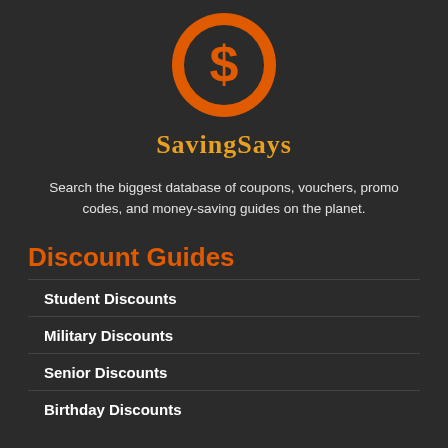[Figure (logo): Orange circle with a dollar sign in the center — SavingSays logo icon]
SavingSays
Search the biggest database of coupons, vouchers, promo codes, and money-saving guides on the planet.
Discount Guides
Student Discounts
Military Discounts
Senior Discounts
Birthday Discounts